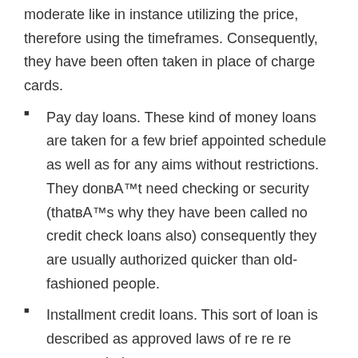moderate like in instance utilizing the price, therefore using the timeframes. Consequently, they have been often taken in place of charge cards.
Pay day loans. These kind of money loans are taken for a few brief appointed schedule as well as for any aims without restrictions. They donвЂ™t need checking or security (thatвЂ™s why they have been called no credit check loans also) consequently they are usually authorized quicker than old-fashioned people.
Installment credit loans. This sort of loan is described as approved laws of re re re payment being